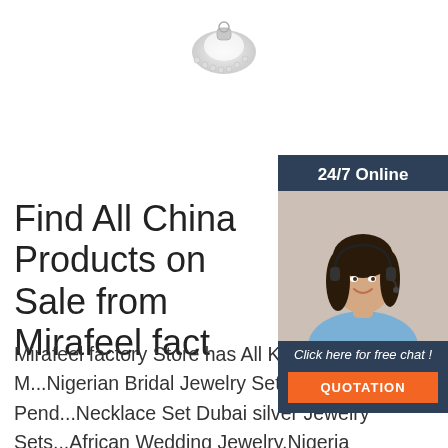[Figure (photo): Silver and crystal jewelry pendant/brooch with rhinestones, shown at top center]
[Figure (infographic): Sidebar with '24/7 Online' header in dark blue, photo of woman with headset (customer support), 'Click here for free chat!' text and orange QUOTATION button]
Find All China Products on Sale from Mirafeel factory Store
Mirafeel factory Store has All Kinds of M...Nigerian Bridal Jewelry Set Flower Pend...Necklace Set Dubai silver Jewelry Sets...African Wedding Jewelry,Nigeria Dubai...Jewelry Sets for Women Indian Bridal Gift Crystal Necklace Bracelet Earrings Ring Wholesale Jewelry,bracelets for women gold plating jewel sets fine jewelry sets FASHION women bangel ring NEW design ...
[Figure (logo): TOP logo with orange dots arranged in a triangle above the letters T-O-P in orange]